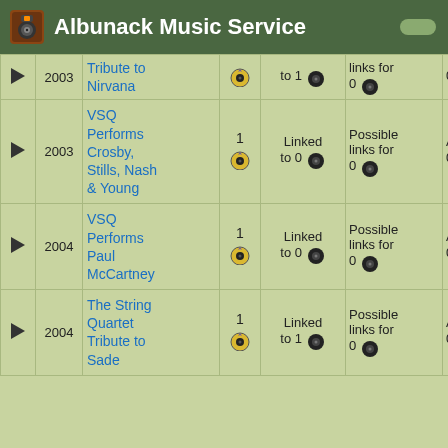Albunack Music Service
|  | Year | Title | Count | Linked | Possible links | Additional |
| --- | --- | --- | --- | --- | --- | --- |
| ▶ | 2003 | Tribute to Nirvana |  | to 1 | links for 0 | 0 |
| ▶ | 2003 | VSQ Performs Crosby, Stills, Nash & Young | 1 | Linked to 0 | Possible links for 0 | Additional 0 |
| ▶ | 2004 | VSQ Performs Paul McCartney | 1 | Linked to 0 | Possible links for 0 | Additional 0 |
| ▶ | 2004 | The String Quartet Tribute to Sade | 1 | Linked to 1 | Possible links for 0 | Additional 0 |